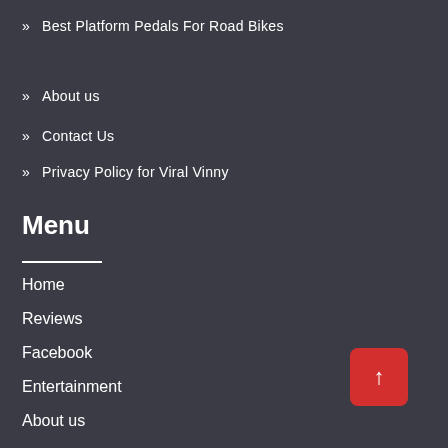» Best Platform Pedals For Road Bikes
» About us
» Contact Us
» Privacy Policy for Viral Vinny
Menu
Home
Reviews
Facebook
Entertainment
About us